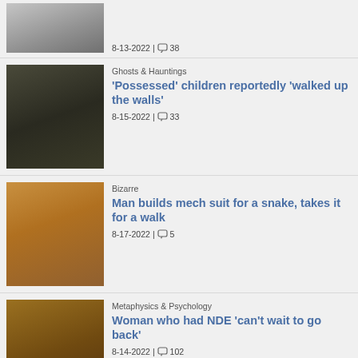8-13-2022 | 38
Ghosts & Hauntings | 'Possessed' children reportedly 'walked up the walls' | 8-15-2022 | 33
Bizarre | Man builds mech suit for a snake, takes it for a walk | 8-17-2022 | 5
Metaphysics & Psychology | Woman who had NDE 'can't wait to go back' | 8-14-2022 | 102
Metaphysics & Psychology | The Sandman: dreams and nightmares | 8-13-2022 | 3